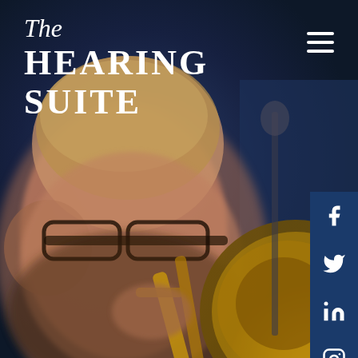[Figure (photo): A man with glasses playing a trombone in close-up, set against a dark blue background. The image is slightly blurred/bokeh style with warm golden tones on the instrument.]
The HEARING SUITE
[Figure (other): Hamburger menu icon (three horizontal white lines) in the top right corner]
[Figure (other): Social media icons on the right side: Facebook, Twitter, LinkedIn, Instagram — each in a dark blue square tile]